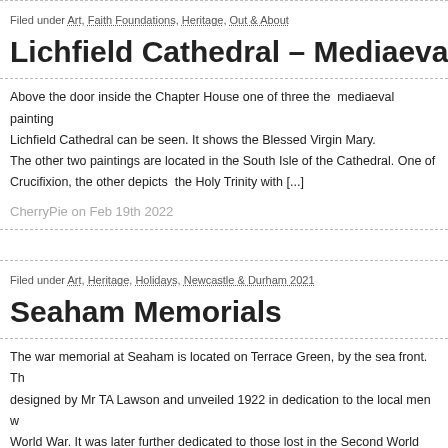Filed under Art, Faith Foundations, Heritage, Out & About
Lichfield Cathedral – Mediaeval Wall Pa
Above the door inside the Chapter House one of three the  mediaeval painting Lichfield Cathedral can be seen. It shows the Blessed Virgin Mary. The other two paintings are located in the South Isle of the Cathedral. One of Crucifixion, the other depicts  the Holy Trinity with [...]
CherryPie on Feb 19th 2022
Filed under Art, Heritage, Holidays, Newcastle & Durham 2021
Seaham Memorials
The war memorial at Seaham is located on Terrace Green, by the sea front. Th designed by Mr TA Lawson and unveiled 1922 in dedication to the local men w World War. It was later further dedicated to those lost in the Second World Wa